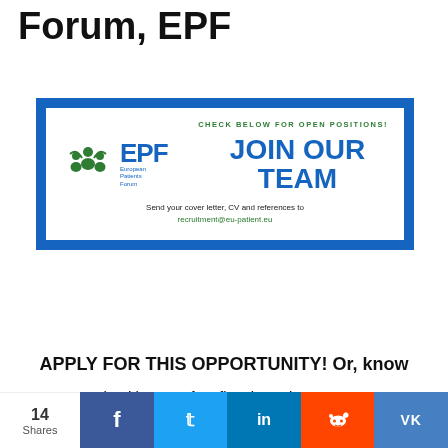Forum, EPF
[Figure (illustration): EPF European Patients Forum recruitment banner with blue border, EPF logo on left, 'JOIN OUR TEAM' text on right, 'CHECK BELOW FOR OPEN POSITIONS!' in green, and 'Send your cover letter, CV and references to recruitment@eu-patient.eu' at the bottom.]
APPLY FOR THIS OPPORTUNITY! Or, know
14 Shares | Facebook | Twitter | LinkedIn | Reddit | VK